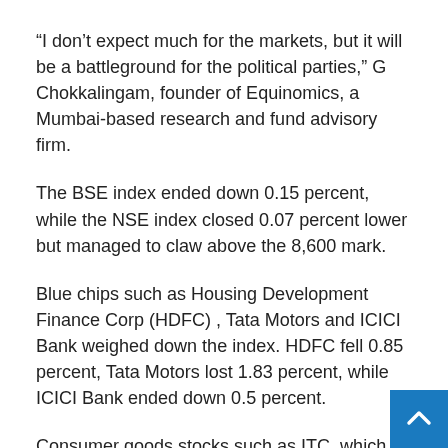“I don’t expect much for the markets, but it will be a battleground for the political parties,” G Chokkalingam, founder of Equinomics, a Mumbai-based research and fund advisory firm.
The BSE index ended down 0.15 percent, while the NSE index closed 0.07 percent lower but managed to claw above the 8,600 mark.
Blue chips such as Housing Development Finance Corp (HDFC) , Tata Motors and ICICI Bank weighed down the index. HDFC fell 0.85 percent, Tata Motors lost 1.83 percent, while ICICI Bank ended down 0.5 percent.
Consumer goods stocks such as ITC, which fell 0.56 percent and Hindustan Unilever, down 1.21 percent, also trailed.